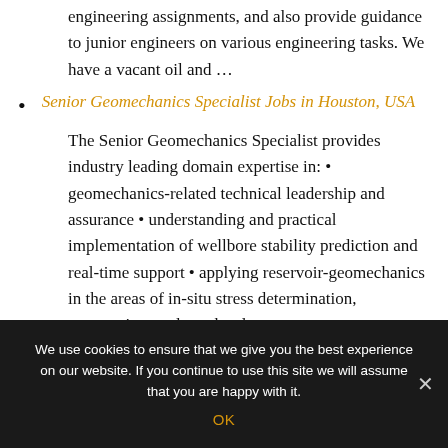engineering assignments, and also provide guidance to junior engineers on various engineering tasks. We have a vacant oil and …
Senior Geomechanics Specialist Jobs in Houston, USA
The Senior Geomechanics Specialist provides industry leading domain expertise in: • geomechanics-related technical leadership and assurance • understanding and practical implementation of wellbore stability prediction and real-time support • applying reservoir-geomechanics in the areas of in-situ stress determination, compaction, and overburden
We use cookies to ensure that we give you the best experience on our website. If you continue to use this site we will assume that you are happy with it.
OK